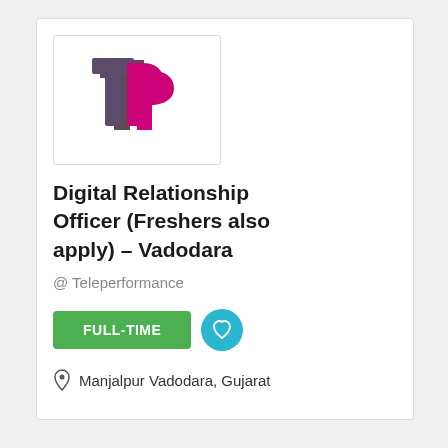[Figure (logo): Teleperformance logo: stylized T and P letters in magenta/purple colors]
Digital Relationship Officer (Freshers also apply) – Vadodara
@ Teleperformance
FULL-TIME
Manjalpur Vadodara, Gujarat